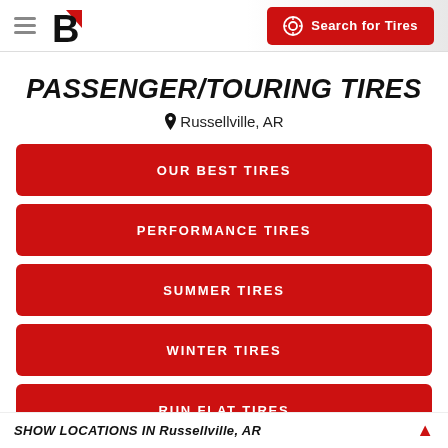Bridgestone — Search for Tires
PASSENGER/TOURING TIRES
📍 Russellville, AR
OUR BEST TIRES
PERFORMANCE TIRES
SUMMER TIRES
WINTER TIRES
RUN FLAT TIRES
SHOW LOCATIONS IN Russellville, AR